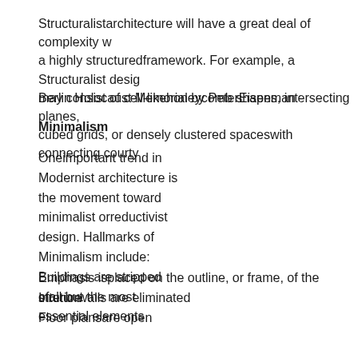Structuralistarchitecture will have a great deal of complexity w a highly structuredframework. For example, a Structuralist desig may consist of cell-likehoneycomb shapes, intersecting planes, cubed grids, or densely clustered spaceswith connecting courty
Berlin Holocaust Memorial by PeterEisenman
Minimalism
Oneimportant trend in Modernist architecture is the movement toward minimalist orreductivist design. Hallmarks of Minimalism include: Buildings are stripped ofall but the most essential elements
Emphasis isplaced on the outline, or frame, of the struture
Interiorwalls are eliminated
Floor plansare open